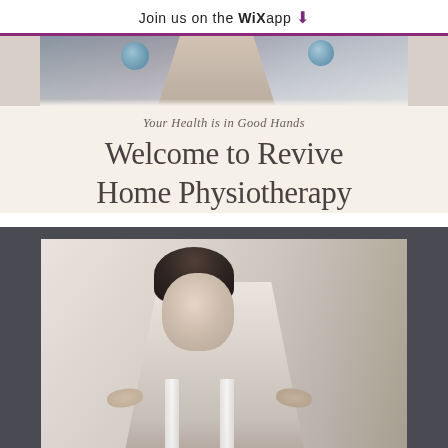Join us on the WiX app ↓
[Figure (photo): Partial gym/fitness photo showing a person exercising with a blue exercise ball in the background]
Your Health is in Good Hands
Welcome to Revive Home Physiotherapy
[Figure (photo): A young woman with short dark hair looking over her shoulder, smiling, while a physiotherapist places hands on her shoulders for treatment]